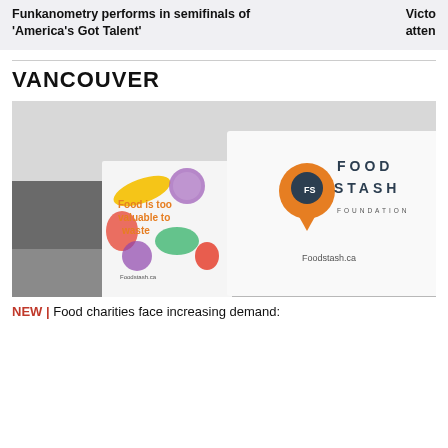Funkanometry performs in semifinals of 'America's Got Talent'
Vict atten
VANCOUVER
[Figure (photo): Food Stash Foundation signage and promotional materials on a table in a warehouse, showing 'Food is too valuable to waste' and 'Foodstash.ca' branding.]
NEW | Food charities face increasing demand: